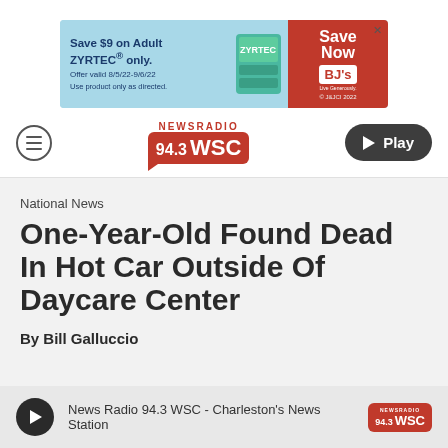[Figure (other): Advertisement banner for ZYRTEC savings at BJ's. Text: Save $9 on Adult ZYRTEC® only. Offer valid 8/5/22-9/6/22. Use product only as directed. Save Now. BJ's Live Generously. © J&JCI 2022]
[Figure (logo): NewsRadio 94.3 WSC logo with hamburger menu and Play button navigation bar]
National News
One-Year-Old Found Dead In Hot Car Outside Of Daycare Center
By Bill Galluccio
[Figure (other): Audio player bar: News Radio 94.3 WSC - Charleston's News Station with play button and WSC logo]